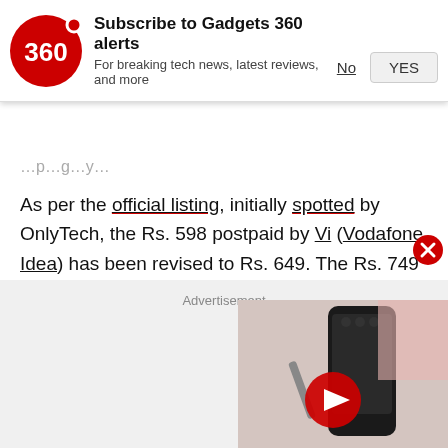[Figure (screenshot): Gadgets 360 notification subscription banner with logo, title 'Subscribe to Gadgets 360 alerts', subtitle 'For breaking tech news, latest reviews, and more', and No/YES buttons]
As per the official listing, initially spotted by OnlyTech, the Rs. 598 postpaid by Vi (Vodafone Idea) has been revised to Rs. 649. The Rs. 749 plan, on the other hand, has been hiked to Rs. 799.
[Figure (screenshot): Advertisement area with video thumbnail showing a dark smartphone and a red play button, with a close (X) button in red circle]